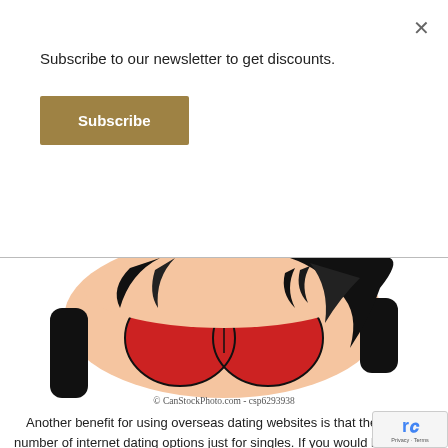Subscribe to our newsletter to get discounts.
Subscribe
[Figure (illustration): Cartoon illustration of a woman in a red dress, back view, with dark hair, wearing black gloves. Watermark: © CanStockPhoto.com - csp6293938]
Another benefit for using overseas dating websites is that they give a number of internet dating options just for singles. If you would like to date somebody locally, or whether... will notice that the web is full of opportunities. You may... single men and women coming from all over the wo... arrange to satisfy by a local tavern, club, restaurant or
[Figure (infographic): WhatsApp pill button: For any Query (10am -7pm)]